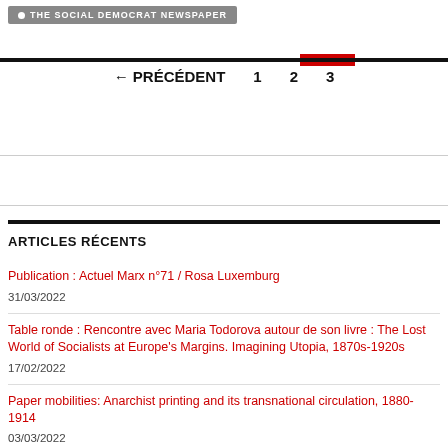THE SOCIAL DEMOCRAT NEWSPAPER
← PRÉCÉDENT   1   2   3
ARTICLES RÉCENTS
Publication : Actuel Marx n°71 / Rosa Luxemburg
31/03/2022
Table ronde : Rencontre avec Maria Todorova autour de son livre : The Lost World of Socialists at Europe's Margins. Imagining Utopia, 1870s-1920s
17/02/2022
Paper mobilities: Anarchist printing and its transnational circulation, 1880-1914
03/03/2022